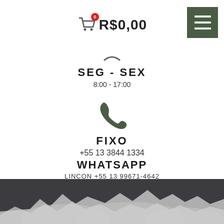R$0,00
SEG - SEX
8:00 - 17:00
[Figure (illustration): Green telephone/phone handset icon]
FIXO
+55 13 3844 1334
WHATSAPP
LINCON +55 13 99671-4642
[Figure (illustration): White envelope/email icon on dark background]
CONTATO@TALISMA-ARTESANATOS.COM
[Figure (illustration): Light silhouette illustration of crafts/artesanatos at bottom]